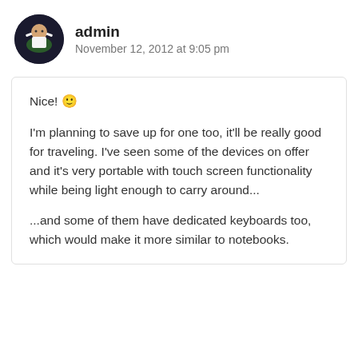admin
November 12, 2012 at 9:05 pm
Nice! 🙂

I'm planning to save up for one too, it'll be really good for traveling. I've seen some of the devices on offer and it's very portable with touch screen functionality while being light enough to carry around...

...and some of them have dedicated keyboards too, which would make it more similar to notebooks.